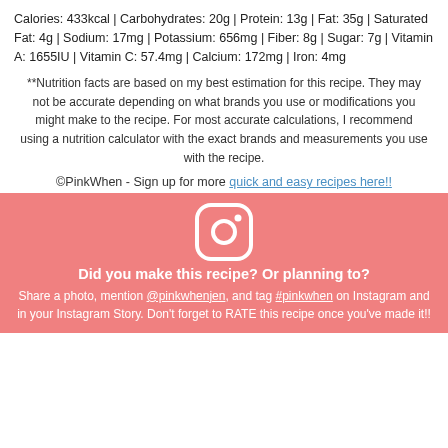Calories: 433kcal | Carbohydrates: 20g | Protein: 13g | Fat: 35g | Saturated Fat: 4g | Sodium: 17mg | Potassium: 656mg | Fiber: 8g | Sugar: 7g | Vitamin A: 1655IU | Vitamin C: 57.4mg | Calcium: 172mg | Iron: 4mg
**Nutrition facts are based on my best estimation for this recipe. They may not be accurate depending on what brands you use or modifications you might make to the recipe. For most accurate calculations, I recommend using a nutrition calculator with the exact brands and measurements you use with the recipe.
©PinkWhen - Sign up for more quick and easy recipes here!!
[Figure (logo): Instagram icon (camera logo) in white on a pink/salmon background]
Did you make this recipe? Or planning to? Share a photo, mention @pinkwhenjen, and tag #pinkwhen on Instagram and in your Instagram Story. Don't forget to RATE this recipe once you've made it!!